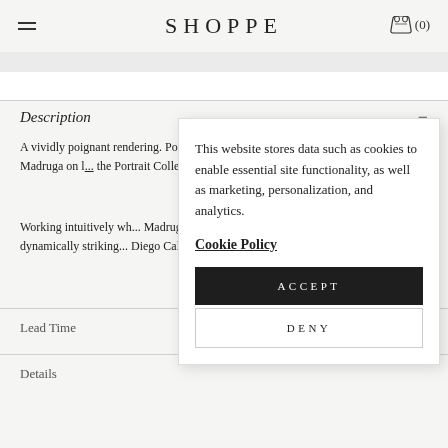SHOPPE  (0)
Description
A vividly poignant rendering. Portrait I Elena is a print of original art by Shelly Madruga on l... the Portrait Collection
Working intuitively wh... Madruga cultivates a st... to create harmonious la... of dynamically striking... Diego California.
This website stores data such as cookies to enable essential site functionality, as well as marketing, personalization, and analytics.
Cookie Policy
ACCEPT
DENY
Lead Time
Details